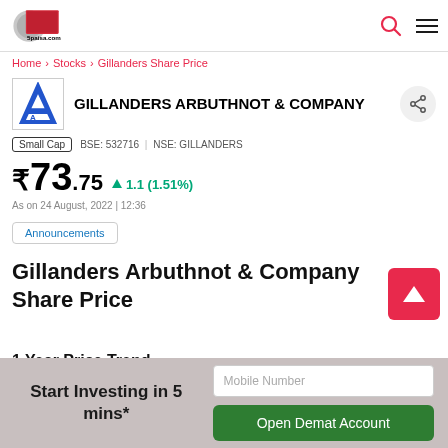5paisa.com
Home > Stocks > Gillanders Share Price
GILLANDERS ARBUTHNOT & COMPANY
Small Cap  BSE: 532716 | NSE: GILLANDERS
₹73.75  1.1 (1.51%)
As on 24 August, 2022 | 12:36
Announcements
Gillanders Arbuthnot & Company Share Price
1 Year Price Trend
Start Investing in 5 mins*
Mobile Number
Open Demat Account